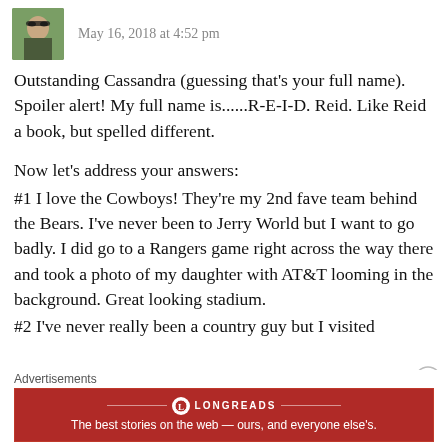[Figure (photo): Small avatar photo of a person wearing sunglasses, outdoors with green background]
May 16, 2018 at 4:52 pm
Outstanding Cassandra (guessing that’s your full name). Spoiler alert! My full name is......R-E-I-D. Reid. Like Reid a book, but spelled different.
Now let’s address your answers:
#1 I love the Cowboys! They’re my 2nd fave team behind the Bears. I’ve never been to Jerry World but I want to go badly. I did go to a Rangers game right across the way there and took a photo of my daughter with AT&T looming in the background. Great looking stadium.
#2 I’ve never really been a country guy but I visited
Advertisements
[Figure (logo): Longreads advertisement banner: red background with Longreads logo and tagline 'The best stories on the web — ours, and everyone else’s.']